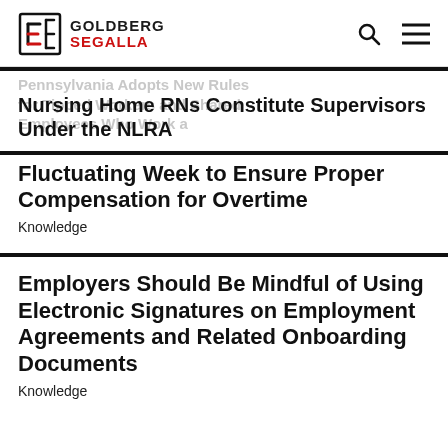Goldberg Segalla
Nursing Home RNs Constitute Supervisors Under the NLRA
Fluctuating Week to Ensure Proper Compensation for Overtime
Knowledge
Employers Should Be Mindful of Using Electronic Signatures on Employment Agreements and Related Onboarding Documents
Knowledge